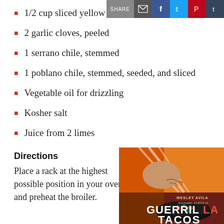SHARE [email] [facebook] [twitter] [pinterest] [tumblr]
1/2 cup sliced yellow or white onion
2 garlic cloves, peeled
1 serrano chile, stemmed
1 poblano chile, stemmed, seeded, and sliced
Vegetable oil for drizzling
Kosher salt
Juice from 2 limes
Directions
Place a rack at the highest possible position in your oven and preheat the broiler.
[Figure (photo): Book cover for Guerrilla Tacos by Wesley Avila and Richard Parks III, showing tattooed hands holding chopsticks over a pan of food with colorful background]